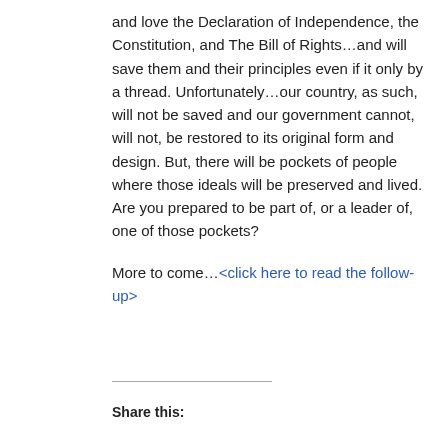and love the Declaration of Independence, the Constitution, and The Bill of Rights…and will save them and their principles even if it only by a thread. Unfortunately…our country, as such, will not be saved and our government cannot, will not, be restored to its original form and design. But, there will be pockets of people where those ideals will be preserved and lived. Are you prepared to be part of, or a leader of, one of those pockets?

More to come…<click here to read the follow-up>
Share this: